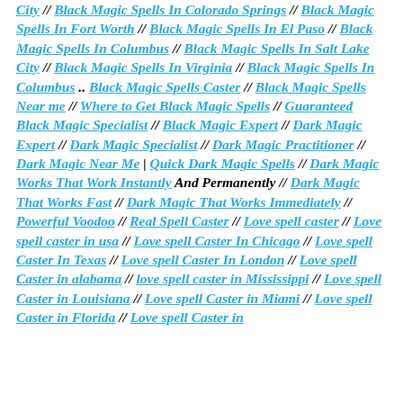City // Black Magic Spells In Colorado Springs // Black Magic Spells In Fort Worth // Black Magic Spells In El Paso // Black Magic Spells In Columbus // Black Magic Spells In Salt Lake City // Black Magic Spells In Virginia // Black Magic Spells In Columbus .. Black Magic Spells Caster // Black Magic Spells Near me // Where to Get Black Magic Spells // Guaranteed Black Magic Specialist // Black Magic Expert // Dark Magic Expert // Dark Magic Specialist // Dark Magic Practitioner // Dark Magic Near Me | Quick Dark Magic Spells // Dark Magic Works That Work Instantly And Permanently // Dark Magic That Works Fast // Dark Magic That Works Immediately // Powerful Voodoo // Real Spell Caster // Love spell caster // Love spell caster in usa // Love spell Caster In Chicago // Love spell Caster In Texas // Love spell Caster In London // Love spell Caster in alabama // love spell caster in Mississippi // Love spell Caster in Louisiana // Love spell Caster in Miami // Love spell Caster in Florida // Love spell Caster in